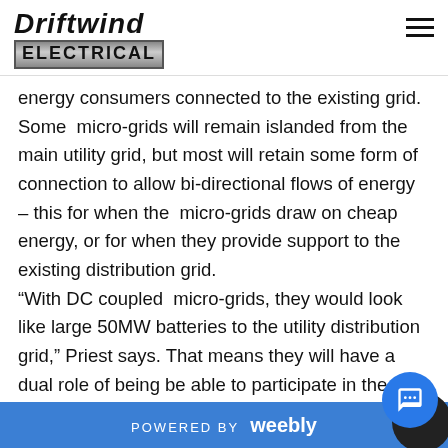Driftwind ELECTRICAL
energy consumers connected to the existing grid. Some micro-grids will remain islanded from the main utility grid, but most will retain some form of connection to allow bi-directional flows of energy – this for when the micro-grids draw on cheap energy, or for when they provide support to the existing distribution grid. “With DC coupled micro-grids, they would look like large 50MW batteries to the utility distribution grid,” Priest says. That means they will have a dual role of being be able to participate in the wholesale energy market, selling energy to the networks when op
POWERED BY weebly